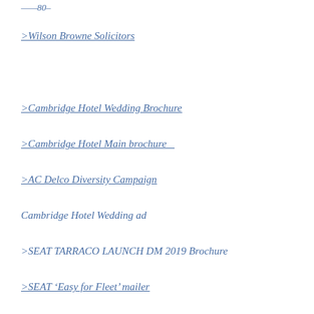>Wilson Browne Solicitors
>Cambridge Hotel Wedding Brochure
>Cambridge Hotel Main brochure
>AC Delco Diversity Campaign
Cambridge Hotel Wedding ad
>SEAT TARRACO LAUNCH DM 2019 Brochure
>SEAT 'Easy for Fleet' mailer